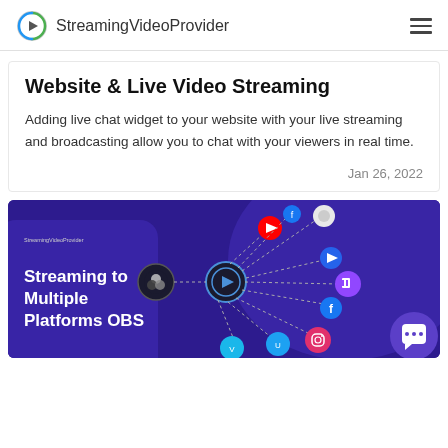StreamingVideoProvider
Website & Live Video Streaming
Adding live chat widget to your website with your live streaming and broadcasting allow you to chat with your viewers in real time.
Jan 26, 2022
[Figure (illustration): Dark purple/indigo banner image showing 'Streaming to Multiple Platforms OBS' with OBS logo, a central play-button hub, and dashed lines connecting to various social/streaming platform icons (YouTube, Twitch, Facebook, Instagram, Vimeo, etc.). StreamingVideoProvider logo in top-left. White chat widget icon in bottom-right corner.]